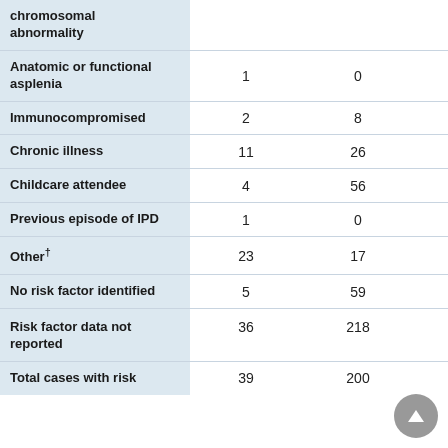| Risk factor | Col1 | Col2 | Col3 |
| --- | --- | --- | --- |
| chromosomal abnormality |  |  |  |
| Anatomic or functional asplenia | 1 | 0 | 1 |
| Immunocompromised | 2 | 8 | 16 |
| Chronic illness | 11 | 26 | 46 |
| Childcare attendee | 4 | 56 | NA |
| Previous episode of IPD | 1 | 0 | 3 |
| Other† | 23 | 17 | 18 |
| No risk factor identified | 5 | 59 | 0 |
| Risk factor data not reported | 36 | 218 | 8 |
| Total cases with risk | 39 | 200 | 56 |